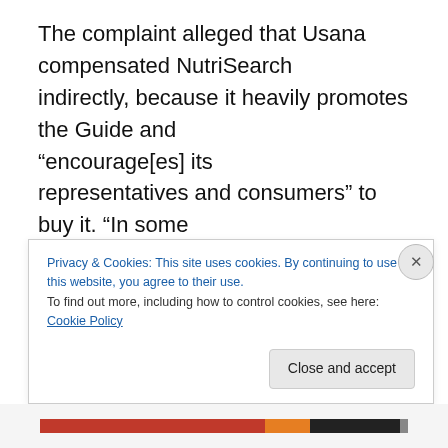The complaint alleged that Usana compensated NutriSearch indirectly, because it heavily promotes the Guide and “encourage[es] its representatives and consumers” to buy it. “In some circumstances, this might plausibly point to some kind of quid pro quo, but here it does not. It is entirely normal for a company whose products have been favorably reviewed in a particular publication to seek to publicize that fact as
Privacy & Cookies: This site uses cookies. By continuing to use this website, you agree to their use.
To find out more, including how to control cookies, see here: Cookie Policy
Close and accept